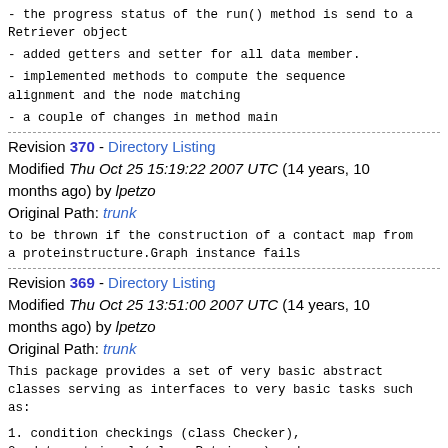- the progress status of the run() method is send to a Retriever object
- added getters and setter for all data member.
- implemented methods to compute the sequence alignment and the node matching
- a couple of changes in method main
Revision 370 - Directory Listing
Modified Thu Oct 25 15:19:22 2007 UTC (14 years, 10 months ago) by lpetzo
Original Path: trunk
to be thrown if the construction of a contact map from a proteinstructure.Graph instance fails
Revision 369 - Directory Listing
Modified Thu Oct 25 13:51:00 2007 UTC (14 years, 10 months ago) by lpetzo
Original Path: trunk
This package provides a set of very basic abstract classes serving as interfaces to very basic tasks such as:
1. condition checkings (class Checker),
2. data retrieval (class Retriever) and
3. pure workers that perform any kind of actions that do not depend on any kind of input data (class Doer).